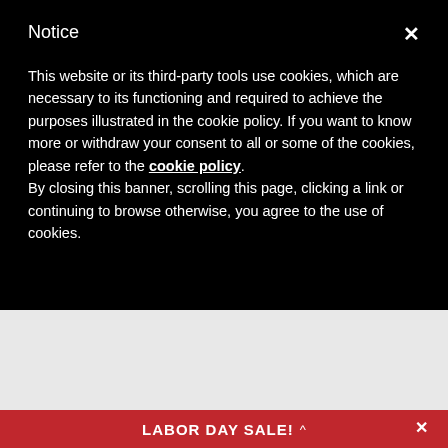Notice
This website or its third-party tools use cookies, which are necessary to its functioning and required to achieve the purposes illustrated in the cookie policy. If you want to know more or withdraw your consent to all or some of the cookies, please refer to the cookie policy. By closing this banner, scrolling this page, clicking a link or continuing to browse otherwise, you agree to the use of cookies.
LABOR DAY SALE!